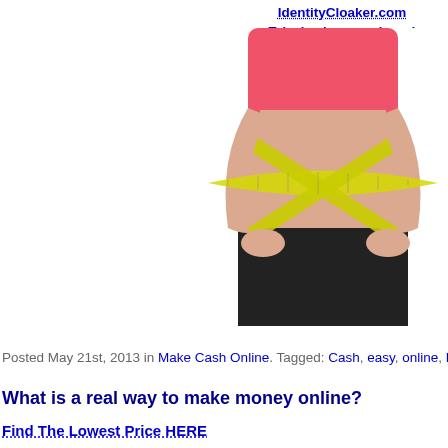IdentityCloaker.com
Take back your privacy!
[Figure (photo): Woman in pink sports top and black skirt with yellow measuring tape wrapped around her waist in an X pattern, shown from neck to thighs, white background]
Posted May 21st, 2013 in Make Cash Online. Tagged: Cash, easy, online, Real, som...
What is a real way to make money online?
Find The Lowest Price HERE